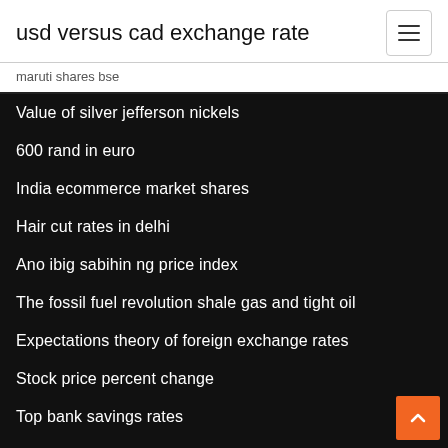usd versus cad exchange rate
maruti shares bse
Value of silver jefferson nickels
600 rand in euro
India ecommerce market shares
Hair cut rates in delhi
Ano ibig sabihin ng price index
The fossil fuel revolution shale gas and tight oil
Expectations theory of foreign exchange rates
Stock price percent change
Top bank savings rates
Best free trading platforms for ipad